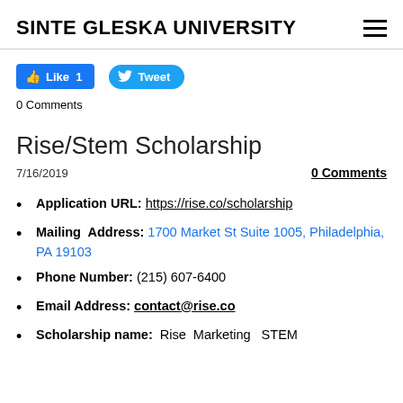SINTE GLESKA UNIVERSITY
[Figure (other): Facebook Like button showing count 1 and Twitter Tweet button]
0 Comments
Rise/Stem Scholarship
7/16/2019
0 Comments
Application URL: https://rise.co/scholarship
Mailing Address: 1700 Market St Suite 1005, Philadelphia, PA 19103
Phone Number: (215) 607-6400
Email Address: contact@rise.co
Scholarship name: Rise Marketing STEM